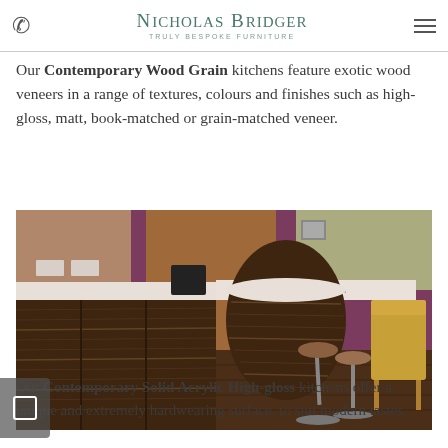Nicholas Bridger — Truly Bespoke Furniture
Our Contemporary Wood Grain kitchens feature exotic wood veneers in a range of textures, colours and finishes such as high-gloss, matt, book-matched or grain-matched veneer.
[Figure (photo): Contemporary wood grain kitchen with dark wood veneer cabinet doors, white stone worktop, bar stools, and purple accent walls.]
Our Contemporary Solid Acrylic High-gloss kitchens offer a unique and extremely hardwearing surface, to suit modern tastes.